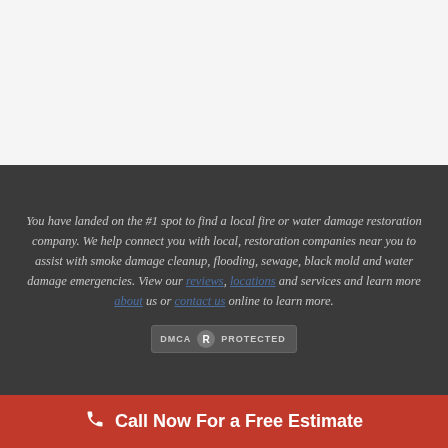[Figure (other): Light gray empty area at top of page, likely an advertisement or image placeholder]
You have landed on the #1 spot to find a local fire or water damage restoration company. We help connect you with local, restoration companies near you to assist with smoke damage cleanup, flooding, sewage, black mold and water damage emergencies. View our reviews, locations and services and learn more about us or contact us online to learn more.
[Figure (logo): DMCA Protected badge]
Call Now For a Free Estimate